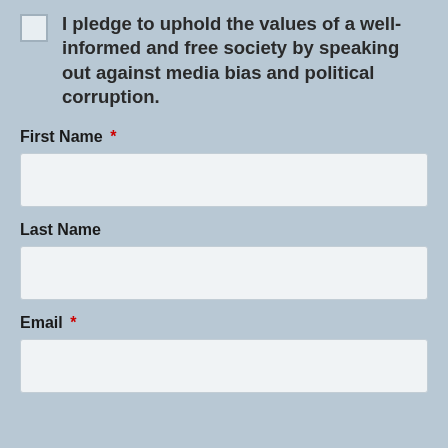I pledge to uphold the values of a well-informed and free society by speaking out against media bias and political corruption.
First Name *
Last Name
Email *